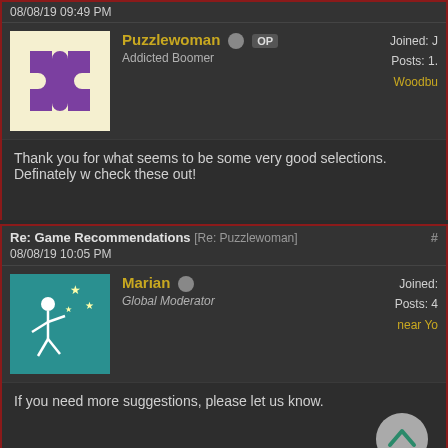08/08/19 09:49 PM
Puzzlewoman OP
Addicted Boomer
Joined: J
Posts: 1.
Woodbu
Thank you for what seems to be some very good selections. Definately w check these out!
Re: Game Recommendations [Re: Puzzlewoman]
08/08/19 10:05 PM
Marian
Global Moderator
Joined:
Posts: 4
near Yo
If you need more suggestions, please let us know.